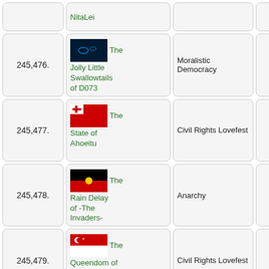| Rank | Nation | Government | Extra |
| --- | --- | --- | --- |
|  | NitaLei |  |  |
| 245,476. | The Jolly Little Swallowtails of D073 | Moralistic Democracy |  |
| 245,477. | The State of Ahoeitu | Civil Rights Lovefest |  |
| 245,478. | The Rain Delay of -The Invaders- | Anarchy |  |
| 245,479. | The Queendom of Britannia Coast | Civil Rights Lovefest |  |
| 245,480. | The Federation of ... | Moralistic Democracy |  |